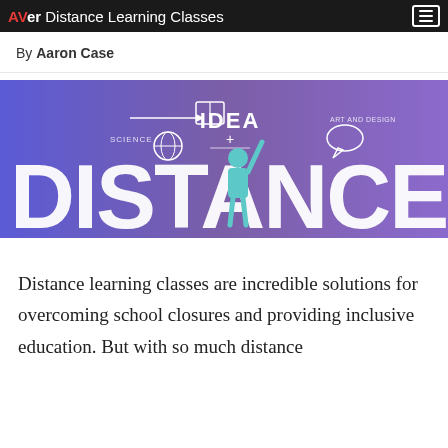AVer Distance Learning Classes
By Aaron Case
[Figure (illustration): Banner image with purple-to-blue gradient background showing educational icons (globe, book, lightbulb, speech bubble) with text 'IDEA' and large white letters 'DISTANCE', with a child raising their hand.]
Distance learning classes are incredible solutions for overcoming school closures and providing inclusive education. But with so much distance